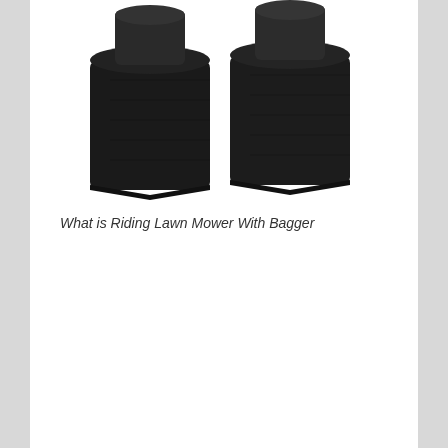[Figure (photo): Two black fabric grass catcher bags for a riding lawn mower bagger attachment, shown from above at an angle against a white background.]
What is Riding Lawn Mower With Bagger